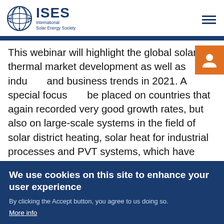ISES International Solar Energy Society
This webinar will highlight the global solar thermal market development as well as industry and business trends in 2021. A special focus will be placed on countries that again recorded very good growth rates, but also on large-scale systems in the field of solar district heating, solar heat for industrial processes and PVT systems, which have recorded remarkable
We use cookies on this site to enhance your user experience
By clicking the Accept button, you agree to us doing so.
More info